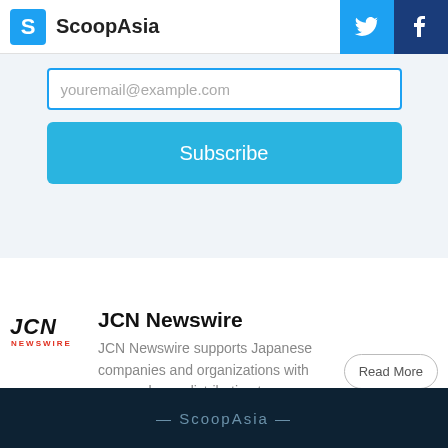ScoopAsia
youremail@example.com
Subscribe
JCN Newswire
JCN Newswire supports Japanese companies and organizations with press release distribution to stakeholders in Asia and worldwide.
Read More
— ScoopAsia —